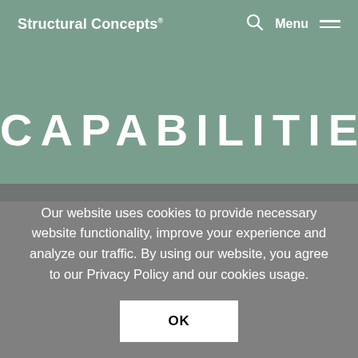Structural Concepts
CAPABILITIES
Our website uses cookies to provide necessary website functionality, improve your experience and analyze our traffic. By using our website, you agree to our Privacy Policy and our cookies usage.
OK